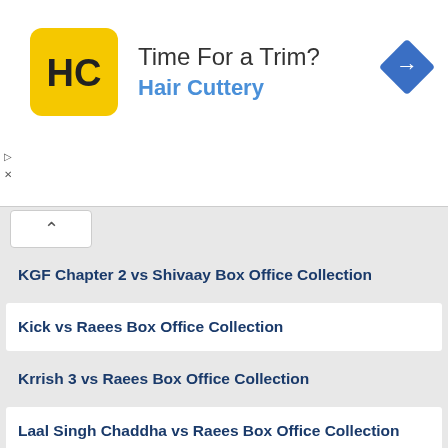[Figure (screenshot): Hair Cuttery advertisement banner with logo, headline 'Time For a Trim?', subtext 'Hair Cuttery', and a blue navigation arrow icon on the right]
KGF Chapter 2 vs Shivaay Box Office Collection
Kick vs Raees Box Office Collection
Krrish 3 vs Raees Box Office Collection
Laal Singh Chaddha vs Raees Box Office Collection
Laal Singh Chaddha vs Shivaay Box Office Collection
Luka Chuppi vs Raees Box Office Collection
Luka Chuppi vs Shivaay Box Office Collection